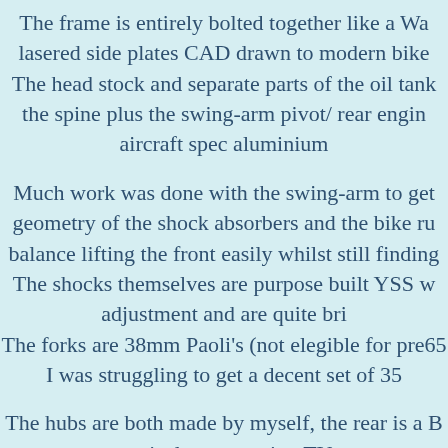The frame is entirely bolted together like a Wa lasered side plates CAD drawn to modern bike The head stock and separate parts of the oil tank the spine plus the swing-arm pivot/ rear engin aircraft spec aluminium
Much work was done with the swing-arm to get geometry of the shock absorbers and the bike ru balance lifting the front easily whilst still finding The shocks themselves are purpose built YSS w adjustment and are quite bri The forks are 38mm Paoli's (not elegible for pre65 I was struggling to get a decent set of 35
The hubs are both made by myself, the rear is a B a conical type running TY s The brake plates 'float' on their spacers allowing